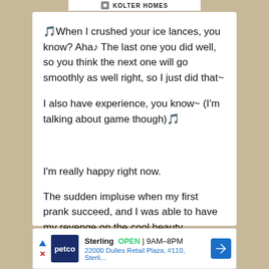KOLTER HOMES
🎵When I crushed your ice lances, you know? Aha♪ The last one you did well, so you think the next one will go smoothly as well right, so I just did that~
I also have experience, you know~ (I'm talking about game though)🎵
I'm really happy right now.
The sudden impluse when my first prank succeed, and I was able to have my revenge on the cool beauty.
[Figure (other): Petco advertisement banner: Sterling OPEN 9AM-8PM, 22000 Dulles Retail Plaza, #110, Sterli...]